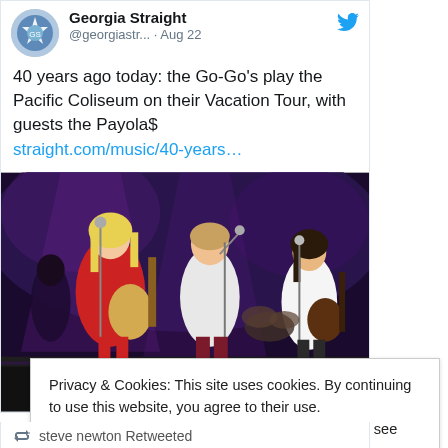Georgia Straight @georgiastr... · Aug 22
40 years ago today: the Go-Go's play the Pacific Coliseum on their Vacation Tour, with guests the Payola$
straight.com/music/40-years…
[Figure (photo): Concert photo showing band members performing on stage: a blonde female guitarist in red on the left, a singer in white t-shirt center-left, and a dark-haired female guitarist on the right, with stage lighting in the background.]
Privacy & Cookies: This site uses cookies. By continuing to use this website, you agree to their use.
To find out more, including how to control cookies, see here: Cookie Policy
Close and accept
steve newton Retweeted